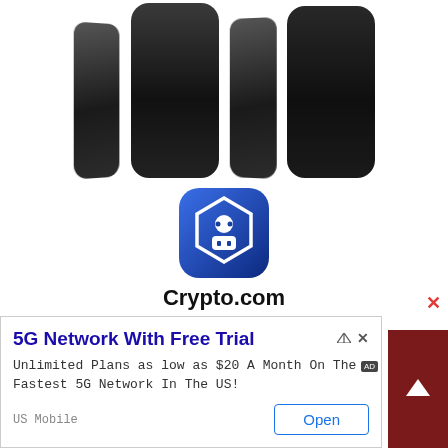[Figure (illustration): Multiple dark-colored smartphone devices shown from different angles, displayed at the top of the page]
[Figure (logo): Crypto.com app icon - blue rounded square with white hexagon robot/shield mascot logo]
Crypto.com
Buy BTC and 80+ cryptos with 0% fees on
[Figure (illustration): Green circular download button with white downward arrow]
5G Network With Free Trial
Unlimited Plans as low as $20 A Month On The Fastest 5G Network In The US!
US Mobile
Open